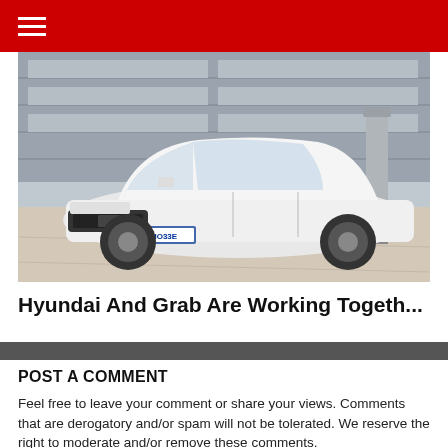≡
[Figure (photo): A white Hyundai Ioniq electric car plugged into a charging station in an outdoor parking area in front of a modern building. The car has a blue European license plate reading E-IO33E.]
Hyundai And Grab Are Working Togeth...
POST A COMMENT
Feel free to leave your comment or share your views. Comments that are derogatory and/or spam will not be tolerated. We reserve the right to moderate and/or remove these comments.
To leave a comment, click the button below